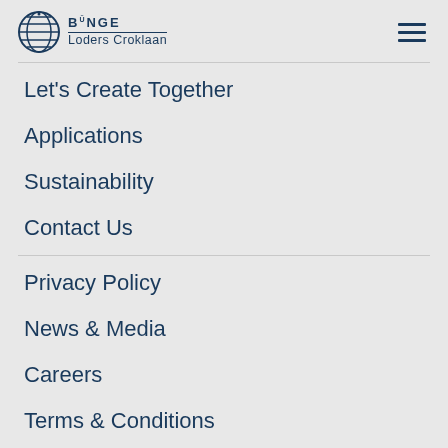Bunge Loders Croklaan
Let's Create Together
Applications
Sustainability
Contact Us
Privacy Policy
News & Media
Careers
Terms & Conditions